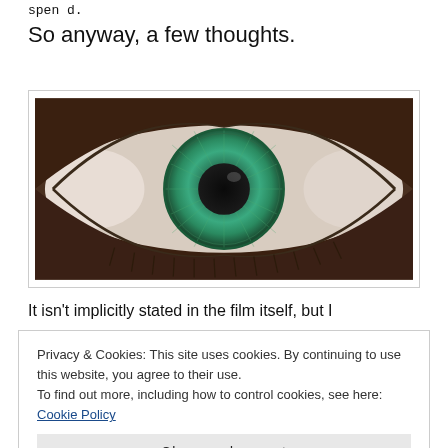spen d.
So anyway, a few thoughts.
[Figure (photo): Extreme close-up macro photograph of a human eye with a green/teal iris and large dark pupil, eyelashes visible at bottom, skin texture visible around the eye.]
It isn't implicitly stated in the film itself, but I
Privacy & Cookies: This site uses cookies. By continuing to use this website, you agree to their use.
To find out more, including how to control cookies, see here: Cookie Policy
Close and accept
curious bookend with the close of the film, where